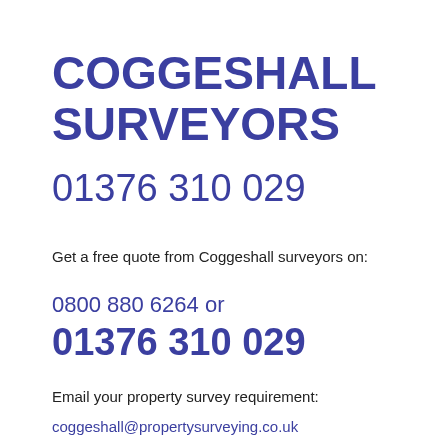COGGESHALL SURVEYORS
01376 310 029
Get a free quote from Coggeshall surveyors on:
0800 880 6264 or
01376 310 029
Email your property survey requirement:
coggeshall@propertysurveying.co.uk